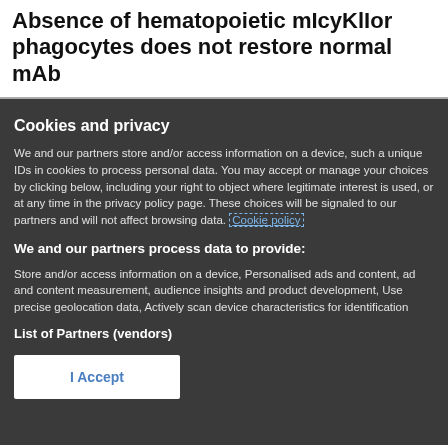Absence of hematopoietic mIcyKlIor phagocytes does not restore normal mAb
Cookies and privacy
We and our partners store and/or access information on a device, such as unique IDs in cookies to process personal data. You may accept or manage your choices by clicking below, including your right to object where legitimate interest is used, or at any time in the privacy policy page. These choices will be signaled to our partners and will not affect browsing data. Cookie policy
We and our partners process data to provide:
Store and/or access information on a device, Personalised ads and content, ad and content measurement, audience insights and product development, Use precise geolocation data, Actively scan device characteristics for identification
List of Partners (vendors)
I Accept